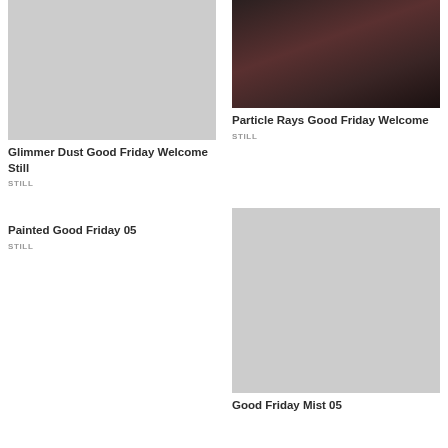[Figure (photo): Light gray placeholder image, square crop]
Glimmer Dust Good Friday Welcome Still
STILL
[Figure (photo): Dark blurred abstract image with dark brown and black tones]
Particle Rays Good Friday Welcome
STILL
Painted Good Friday 05
STILL
[Figure (photo): Light gray placeholder image, square crop]
Good Friday Mist 05